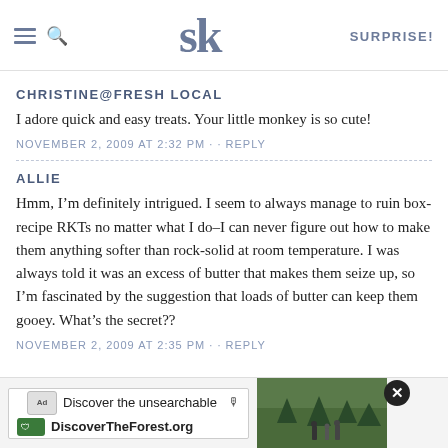SK | SURPRISE!
CHRISTINE@FRESH LOCAL
I adore quick and easy treats. Your little monkey is so cute!
NOVEMBER 2, 2009 AT 2:32 PM · · REPLY
ALLIE
Hmm, I'm definitely intrigued. I seem to always manage to ruin box-recipe RKTs no matter what I do–I can never figure out how to make them anything softer than rock-solid at room temperature. I was always told it was an excess of butter that makes them seize up, so I'm fascinated by the suggestion that loads of butter can keep them gooey. What's the secret??
NOVEMBER 2, 2009 AT 2:35 PM · · REPLY
[Figure (screenshot): Advertisement banner: 'Discover the unsearchable' with DiscoverTheForest.org URL, showing a photo of people hiking in a forest, with a close button (X).]